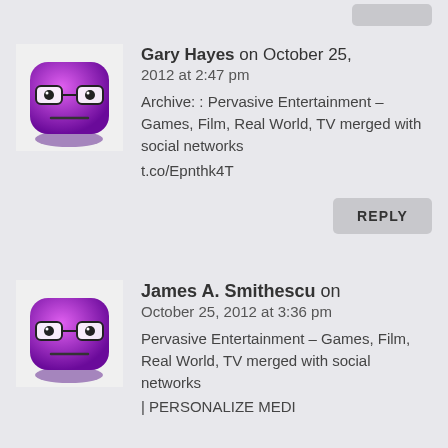[Figure (illustration): Purple cartoon avatar with glasses and neutral expression]
Gary Hayes on October 25, 2012 at 2:47 pm
Archive: : Pervasive Entertainment – Games, Film, Real World, TV merged with social networks
t.co/Epnthk4T
[Figure (illustration): Purple cartoon avatar with glasses and neutral expression]
James A. Smithescu on October 25, 2012 at 3:36 pm
Pervasive Entertainment – Games, Film, Real World, TV merged with social networks | PERSONALIZE MEDI